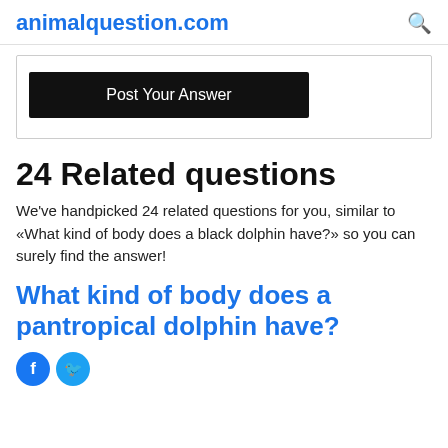animalquestion.com
Post Your Answer
24 Related questions
We've handpicked 24 related questions for you, similar to «What kind of body does a black dolphin have?» so you can surely find the answer!
What kind of body does a pantropical dolphin have?